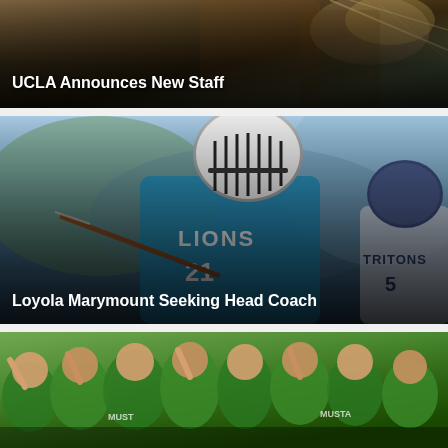[Figure (photo): Lacrosse player holding a stick, with text overlay: UCLA Announces New Staff]
[Figure (photo): Lacrosse player wearing LIONS #21 jersey and white helmet, with a TRITONS player in background. Text overlay: Loyola Marymount Seeking Head Coach]
[Figure (photo): Group of lacrosse players in green Mustangs jerseys celebrating, holding up index fingers. No text overlay visible.]